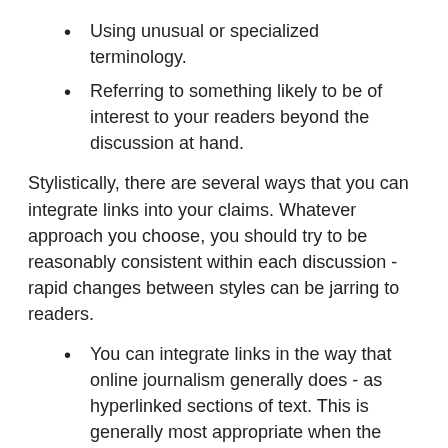Using unusual or specialized terminology.
Referring to something likely to be of interest to your readers beyond the discussion at hand.
Stylistically, there are several ways that you can integrate links into your claims. Whatever approach you choose, you should try to be reasonably consistent within each discussion - rapid changes between styles can be jarring to readers.
You can integrate links in the way that online journalism generally does - as hyperlinked sections of text. This is generally most appropriate when the source linked is fairly short, or the entirety of the source is what you are referring to.
You can integrate links in parentheses at the end of a claim (or within the claim, though we largely find that this can be jarring within such short snippets of